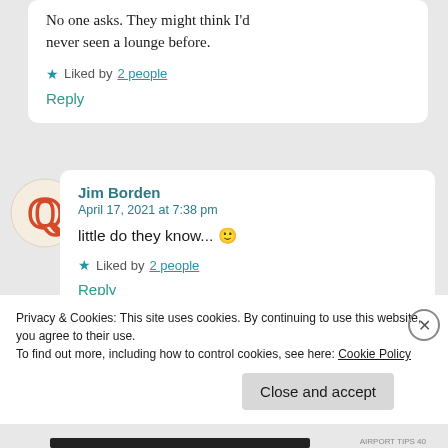No one asks. They might think I'd never seen a lounge before.
★ Liked by 2 people
Reply
[Figure (illustration): Circular avatar icon with orange/red Q letter logo on cream background]
Jim Borden
April 17, 2021 at 7:38 pm
little do they know... 🙂
★ Liked by 2 people
Reply
Privacy & Cookies: This site uses cookies. By continuing to use this website, you agree to their use.
To find out more, including how to control cookies, see here: Cookie Policy
Close and accept